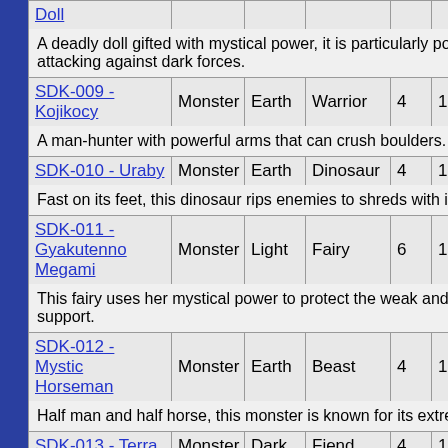| Name | Type | Attribute | Race | Level | ATK | DEF |
| --- | --- | --- | --- | --- | --- | --- |
| Doll |  |  |  |  |  |  |
| A deadly doll gifted with mystical power, it is particularly powerful when attacking against dark forces. |  |  |  |  |  |  |
| SDK-009 - Kojikocy | Monster | Earth | Warrior | 4 | 1500 | 1 |
| A man-hunter with powerful arms that can crush boulders. |  |  |  |  |  |  |
| SDK-010 - Uraby | Monster | Earth | Dinosaur | 4 | 1500 | 8 |
| Fast on its feet, this dinosaur rips enemies to shreds with its claws. |  |  |  |  |  |  |
| SDK-011 - Gyakutenno Megami | Monster | Light | Fairy | 6 | 1800 | 2 |
| This fairy uses her mystical power to protect the weak and provide spiritual support. |  |  |  |  |  |  |
| SDK-012 - Mystic Horseman | Monster | Earth | Beast | 4 | 1300 | 1 |
| Half man and half horse, this monster is known for its extreme... |  |  |  |  |  |  |
| SDK-013 - Terra | Monster | Dark | Fiend | 4 | 1200 |  |